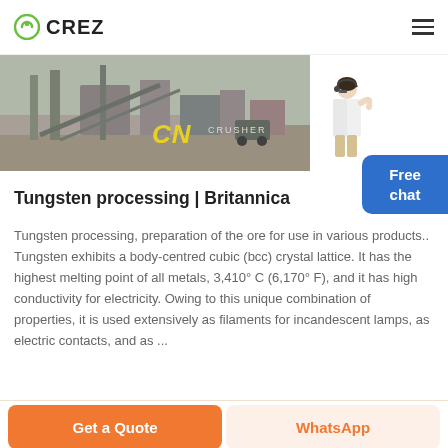CREZ
[Figure (photo): Aerial view of a mining crusher site with construction equipment, labeled CN CRUSHER]
Tungsten processing | Britannica
Tungsten processing, preparation of the ore for use in various products.. Tungsten exhibits a body-centred cubic (bcc) crystal lattice. It has the highest melting point of all metals, 3,410° C (6,170° F), and it has high conductivity for electricity. Owing to this unique combination of properties, it is used extensively as filaments for incandescent lamps, as electric contacts, and as ...
Free chat
Get a Quote
WhatsApp